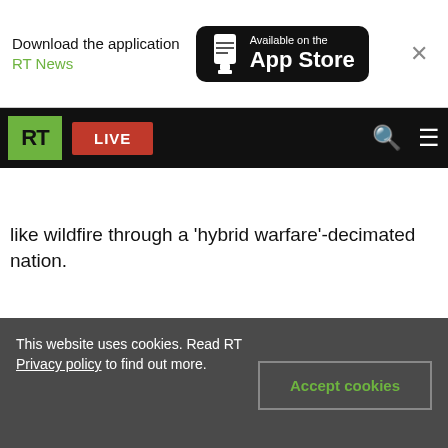Download the application RT News — Available on the App Store
RT LIVE
now, for endorsing sanctions that will ensure the like wildfire through a 'hybrid warfare'-decimated nation.
This website uses cookies. Read RT Privacy policy to find out more.
Accept cookies
This... ids would be increased r shole